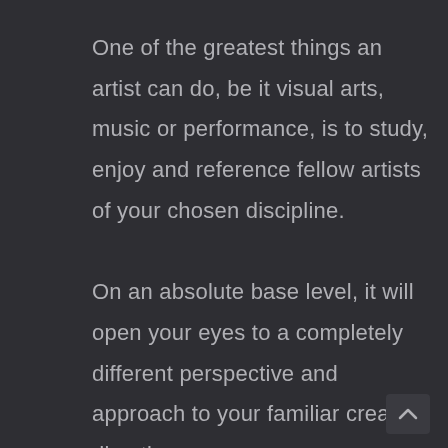One of the greatest things an artist can do, be it visual arts, music or performance, is to study, enjoy and reference fellow artists of your chosen discipline.

On an absolute base level, it will open your eyes to a completely different perspective and approach to your familiar creative direction. That said, I am in no way a